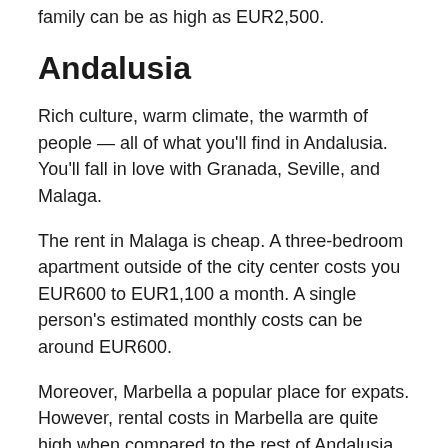family can be as high as EUR2,500.
Andalusia
Rich culture, warm climate, the warmth of people — all of what you'll find in Andalusia. You'll fall in love with Granada, Seville, and Malaga.
The rent in Malaga is cheap. A three-bedroom apartment outside of the city center costs you EUR600 to EUR1,100 a month. A single person's estimated monthly costs can be around EUR600.
Moreover, Marbella a popular place for expats. However, rental costs in Marbella are quite high when compared to the rest of Andalusia. The restaurants are more pricey as well.